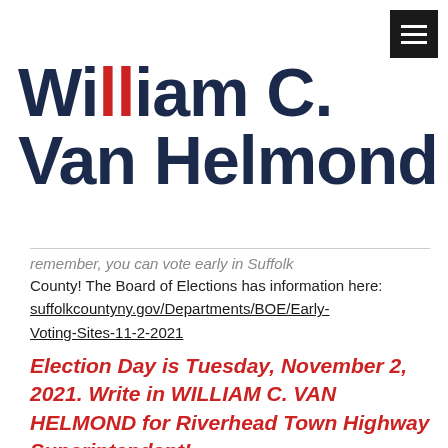[Figure (logo): Hamburger menu button (three white lines on black background) in top right corner]
William C. Van Helmond
remember, you can vote early in Suffolk County! The Board of Elections has information here: suffolkcountyny.gov/Departments/BOE/Early-Voting-Sites-11-2-2021
Election Day is Tuesday, November 2, 2021. Write in WILLIAM C. VAN HELMOND for Riverhead Town Highway Superintendent!